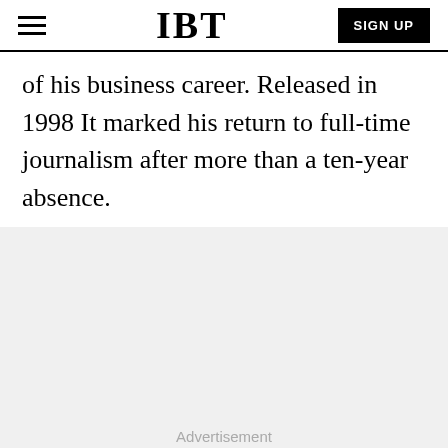IBT | SIGN UP
of his business career. Released in 1998 It marked his return to full-time journalism after more than a ten-year absence.
[Figure (other): Advertisement placeholder area with gray background and 'Advertisement' label]